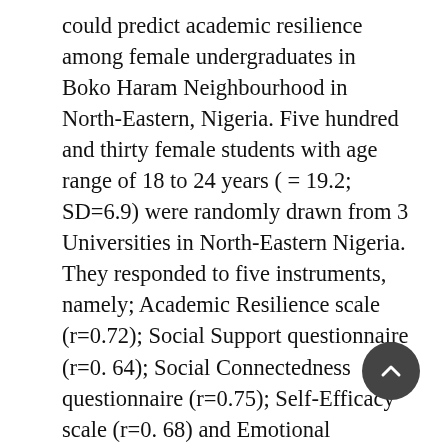could predict academic resilience among female undergraduates in Boko Haram Neighbourhood in North-Eastern, Nigeria. Five hundred and thirty female students with age range of 18 to 24 years ( = 19.2; SD=6.9) were randomly drawn from 3 Universities in North-Eastern Nigeria. They responded to five instruments, namely; Academic Resilience scale (r=0.72); Social Support questionnaire (r=0. 64); Social Connectedness questionnaire (r=0.75); Self-Efficacy scale (r=0. 68) and Emotional Regulation questionnaire (r=78). Results showed that there was significant positive relationship between the four independent variables and academic resilience. The variables jointly contributed 5.9% variance in the prediction of academic resilience. In terms of magnitude, social support was most potent while self-efficacy was the least. It concluded that the factors considered in this study are academic resilience facilitators. The